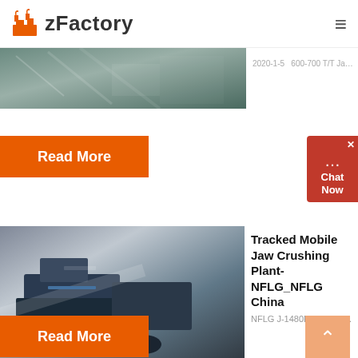zFactory
[Figure (photo): Cropped industrial machinery photo at top of page]
2020-1-5    600-700 T/T Jaw Cone...
Read More
[Figure (photo): Tracked mobile jaw crushing plant machinery in black and white/blue tones]
Tracked Mobile Jaw Crushing Plant-NFLG_NFLG China
NFLG J-1480E tracked mobile jaw ...
Read More